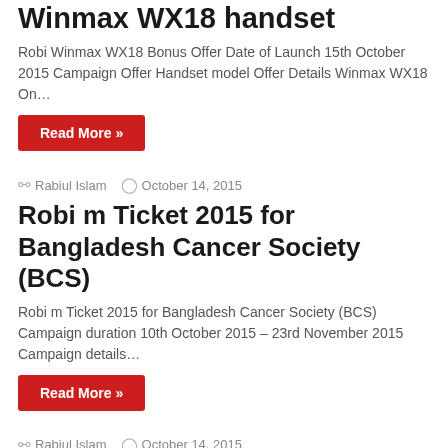Winmax WX18 handset
Robi Winmax WX18 Bonus Offer Date of Launch 15th October 2015 Campaign Offer Handset model Offer Details Winmax WX18 On…
Read More »
Rabiul Islam  October 14, 2015
Robi m Ticket 2015 for Bangladesh Cancer Society (BCS)
Robi m Ticket 2015 for Bangladesh Cancer Society (BCS)  Campaign duration 10th October 2015 – 23rd November 2015  Campaign details…
Read More »
Rabiul Islam  October 14, 2015
Maximus Smartphone With Robi Bundle Offer
Maximus Handset and Robi Bundle Offer October 2015 Date of Launch 13th October 2015 Campaign Offer 1 Enjoy BDT 1550…
Read More »